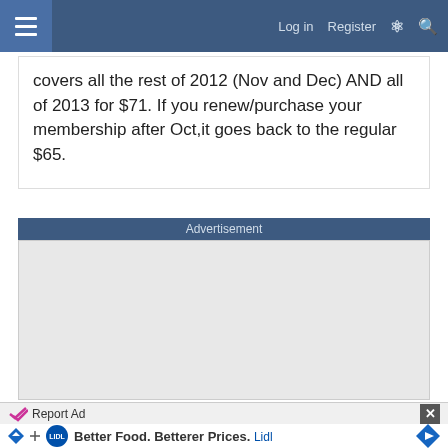Log in  Register
covers all the rest of 2012 (Nov and Dec) AND all of 2013 for $71. If you renew/purchase your membership after Oct,it goes back to the regular $65.
Advertisement
[Figure (other): Advertisement placeholder area (gray box)]
Report Ad
[Figure (other): Lidl advertisement banner: Better Food. Betterer Prices. Lidl]